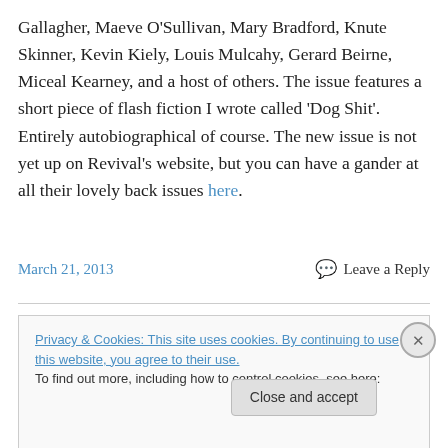Gallagher, Maeve O'Sullivan, Mary Bradford, Knute Skinner, Kevin Kiely, Louis Mulcahy, Gerard Beirne, Miceal Kearney, and a host of others. The issue features a short piece of flash fiction I wrote called 'Dog Shit'. Entirely autobiographical of course. The new issue is not yet up on Revival's website, but you can have a gander at all their lovely back issues here.
March 21, 2013
Leave a Reply
Privacy & Cookies: This site uses cookies. By continuing to use this website, you agree to their use.
To find out more, including how to control cookies, see here: Cookie Policy
Close and accept